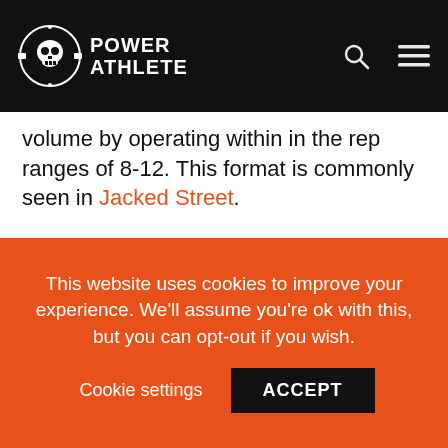Power Athlete
volume by operating within in the rep ranges of 8-12. This format is commonly seen in Jacked Street.
[Figure (photo): Close-up photo of a professional audio mixing board with faders, knobs, and red illuminated buttons, with a hand visible adjusting a fader in the upper right.]
This website uses cookies to improve your experience. We'll assume you're ok with this, but you can opt-out if you wish. Cookie settings ACCEPT